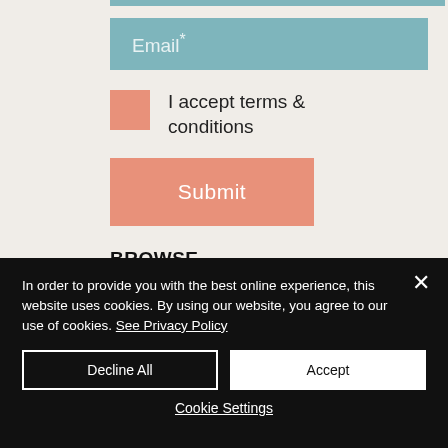Email*
I accept terms & conditions
Submit
BROWSE
Shop
In order to provide you with the best online experience, this website uses cookies. By using our website, you agree to our use of cookies. See Privacy Policy
Decline All
Accept
Cookie Settings